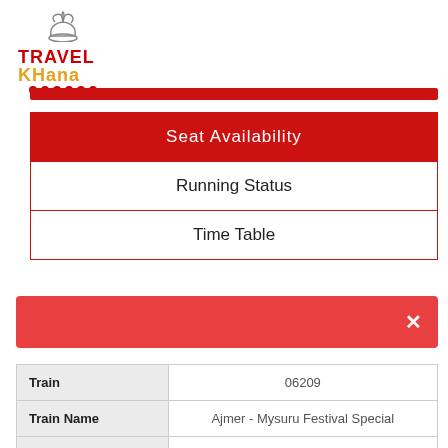[Figure (logo): TravelKhana logo with chef hat icon above the text, TRAVEL in red and KHANA in orange/yellow, with red dots underline]
| Seat Availability |
| Running Status |
| Time Table |
×
| Train | 06209 |
| Train Name | Ajmer - Mysuru Festival Special |
| Soruce | AII/Ajmer Junction |